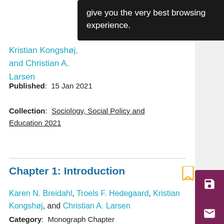[Figure (screenshot): Black tooltip overlay showing text: give you the very best browsing experience.]
Kristian Kongshøj, and Christian A. Larsen
Published: 15 Jan 2021
Collection: Sociology, Social Policy and Education 2021
Chapter 1: Introduction
Karen N. Breidahl, Troels F. Hedegaard, Kristian Kongshøj, and Christian A. Larsen
Category: Monograph Chapter
in Migrants' Attitudes and the Welfare